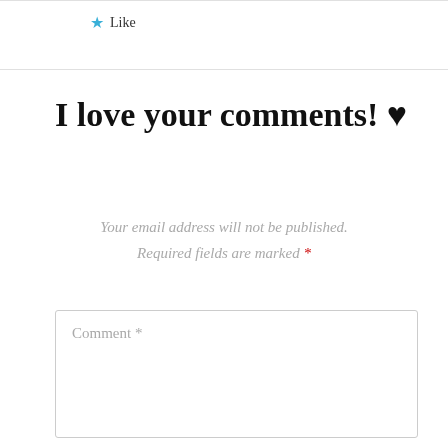[Figure (screenshot): Like button bar with a blue star icon and 'Like' text]
I love your comments! ♥
Your email address will not be published. Required fields are marked *
Comment *